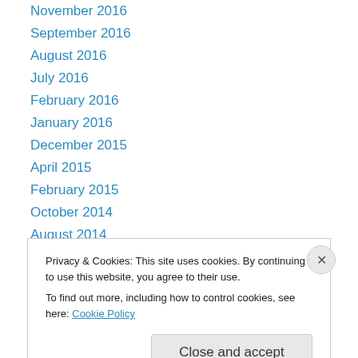November 2016
September 2016
August 2016
July 2016
February 2016
January 2016
December 2015
April 2015
February 2015
October 2014
August 2014
October 2013
July 2013
Privacy & Cookies: This site uses cookies. By continuing to use this website, you agree to their use.
To find out more, including how to control cookies, see here: Cookie Policy
Close and accept